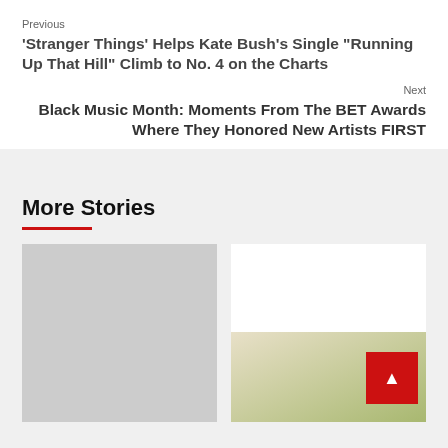Previous
‘Stranger Things’ Helps Kate Bush’s Single “Running Up That Hill” Climb to No. 4 on the Charts
Next
Black Music Month: Moments From The BET Awards Where They Honored New Artists FIRST
More Stories
[Figure (photo): Gray placeholder image card on the left]
[Figure (photo): White card with gradient bottom-right, red back-to-top button with up arrow]